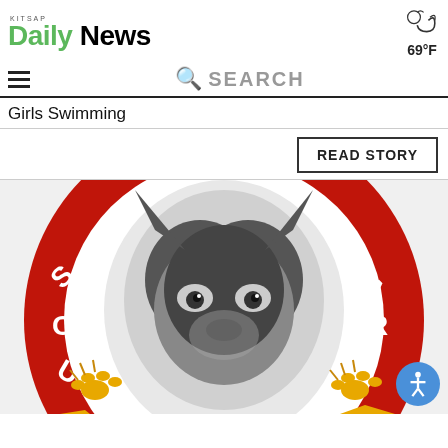KITSAP Daily News — 69°F
SEARCH
Girls Swimming
READ STORY
[Figure (logo): South Kitsap school logo with wolf mascot on red circular badge with letters SOU and AR visible, and yellow paw print accents]